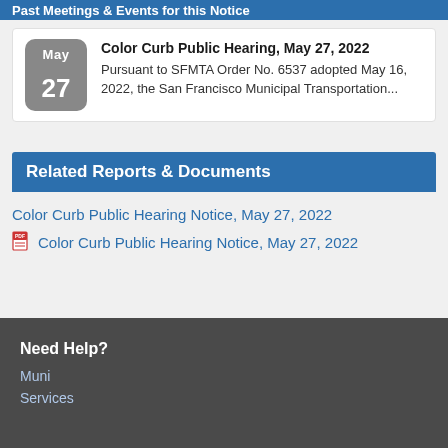Past Meetings & Events for this Notice
Color Curb Public Hearing, May 27, 2022
Pursuant to SFMTA Order No. 6537 adopted May 16, 2022, the San Francisco Municipal Transportation...
Related Reports & Documents
Color Curb Public Hearing Notice, May 27, 2022
Color Curb Public Hearing Notice, May 27, 2022
Need Help?
Muni
Services